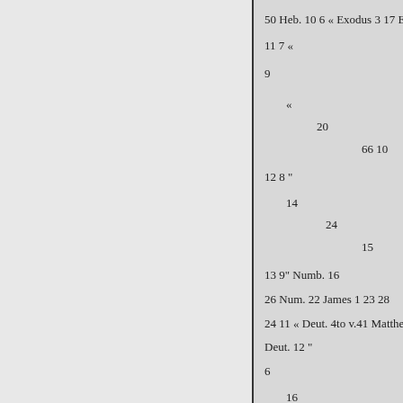50 Heb. 10 6 « Exodus 3 17 E
11 7 «
9
«
20
66 10
12 8 "
14
24
15
13 9" Numb. 16
26 Num. 22 James 1 23 28
24 11 « Deut. 4to v.41 Matthe
Deut. 12 "
6
16
20